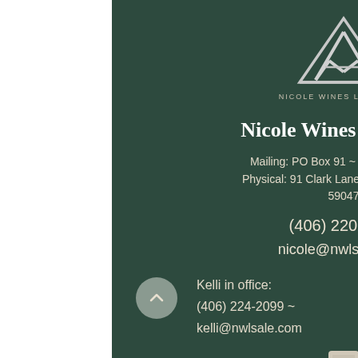[Figure (logo): Nicole Wines Livestock logo — stylized NWL monogram inside a triangle shape, silver/white on dark green background]
Nicole Wines Livestock
Mailing: PO Box 91 ~ Pray, MT 59065
Physical: 91 Clark Lane ~ Livingston, MT 59047
(406) 220-3329
nicole@nwlsale.com
Kelli in office:
(406) 224-2099  ~
kelli@nwlsale.com